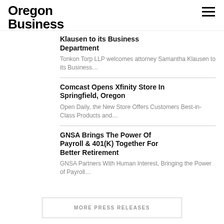Oregon Business
Klausen to its Business Department
Tonkon Torp LLP welcomes attorney Samantha Klausen to its Business…
Comcast Opens Xfinity Store In Springfield, Oregon
Open Daily, the New Store Offers Customers Best-in-Class Products and…
GNSA Brings The Power Of Payroll & 401(K) Together For Better Retirement
GNSA Partners With Human Interest, Bringing the Power of Payroll…
MORE PRESS RELEASES